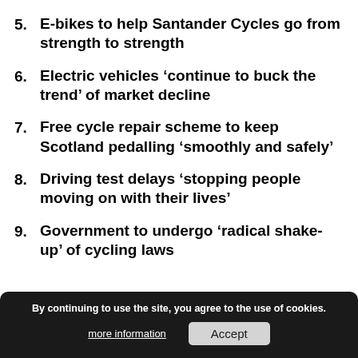5. E-bikes to help Santander Cycles go from strength to strength
6. Electric vehicles ‘continue to buck the trend’ of market decline
7. Free cycle repair scheme to keep Scotland pedalling ‘smoothly and safely’
8. Driving test delays ‘stopping people moving on with their lives’
9. Government to undergo ‘radical shake-up’ of cycling laws
By continuing to use the site, you agree to the use of cookies.
more information   Accept